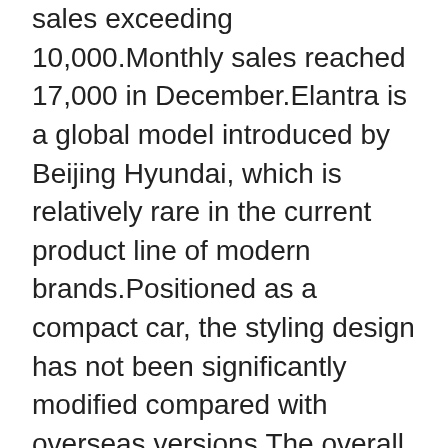sales exceeding 10,000.Monthly sales reached 17,000 in December.Elantra is a global model introduced by Beijing Hyundai, which is relatively rare in the current product line of modern brands.Positioned as a compact car, the styling design has not been significantly modified compared with overseas versions.The overall design is young and slightly radical, but also has a certain sense of advanced.The domestic version of Elantra is equipped with 1.5L+CVT and 1.4T+7DCT powertrains, which can meet different consumer needs.The rear suspension is definitely torsion beam type.The driving texture of Elantra compared with its predecessor models (Lang Move, lead move) has significantly improved, in the same price model is also relatively excellent.Beijing Hyundai recently launched a new elantra.There are 9 models in total and the price range is 99,800 to 141,800 yuan.Two new black Knight limited edition models will be available in space Gray and Phantom Black.In addition, the new car's front grille, wheel rims and